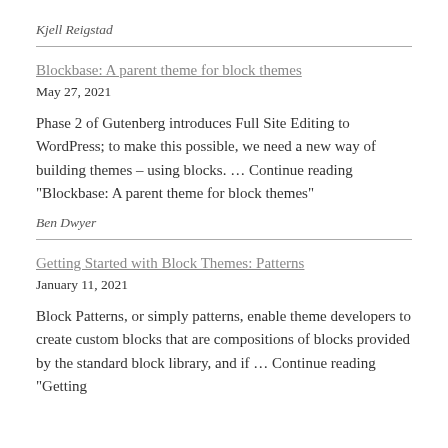Kjell Reigstad
Blockbase: A parent theme for block themes
May 27, 2021
Phase 2 of Gutenberg introduces Full Site Editing to WordPress; to make this possible, we need a new way of building themes – using blocks. … Continue reading "Blockbase: A parent theme for block themes"
Ben Dwyer
Getting Started with Block Themes: Patterns
January 11, 2021
Block Patterns, or simply patterns, enable theme developers to create custom blocks that are compositions of blocks provided by the standard block library, and if … Continue reading "Getting